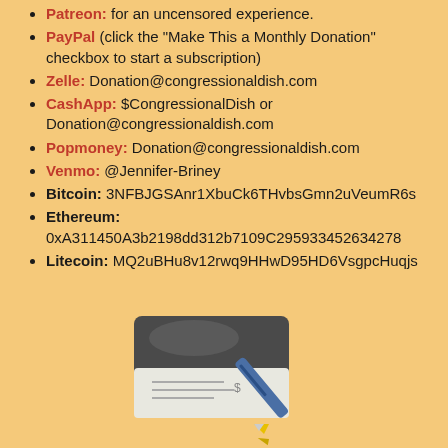Patreon: for an uncensored experience.
PayPal (click the "Make This a Monthly Donation" checkbox to start a subscription)
Zelle: Donation@congressionaldish.com
CashApp: $CongressionalDish or Donation@congressionaldish.com
Popmoney: Donation@congressionaldish.com
Venmo: @Jennifer-Briney
Bitcoin: 3NFBJGSAnr1XbuCk6THvbsGmn2uVeumR6s
Ethereum: 0xA311450A3b2198dd312b7109C295933452634278
Litecoin: MQ2uBHu8v12rwq9HHwD95HD6VsgpcHuqjs
[Figure (illustration): A checkbook with a pen/pencil resting on it, cartoon style illustration]